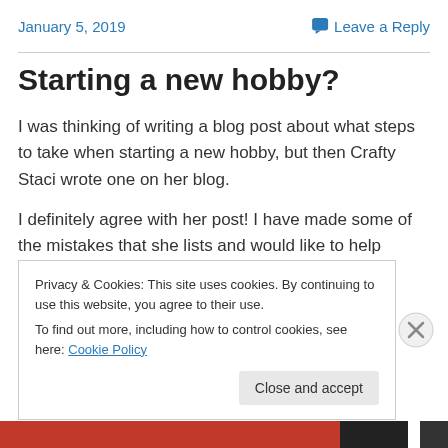January 5, 2019
Leave a Reply
Starting a new hobby?
I was thinking of writing a blog post about what steps to take when starting a new hobby, but then Crafty Staci wrote one on her blog.
I definitely agree with her post!  I have made some of the mistakes that she lists and would like to help others from
Privacy & Cookies: This site uses cookies. By continuing to use this website, you agree to their use.
To find out more, including how to control cookies, see here: Cookie Policy
Close and accept